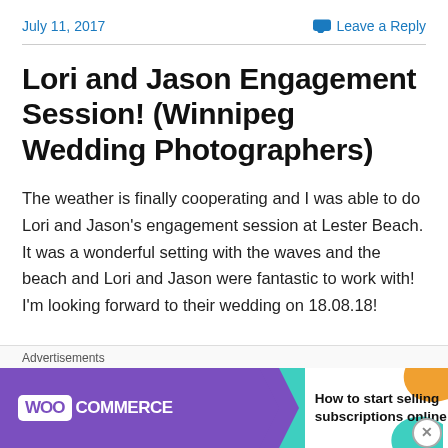July 11, 2017   Leave a Reply
Lori and Jason Engagement Session! (Winnipeg Wedding Photographers)
The weather is finally cooperating and I was able to do Lori and Jason's engagement session at Lester Beach. It was a wonderful setting with the waves and the beach and Lori and Jason were fantastic to work with! I'm looking forward to their wedding on 18.08.18!
[Figure (screenshot): WooCommerce advertisement banner: purple left side with WooCommerce logo and teal arrow, white right side with orange and teal decorative shapes and text 'How to start selling subscriptions online']